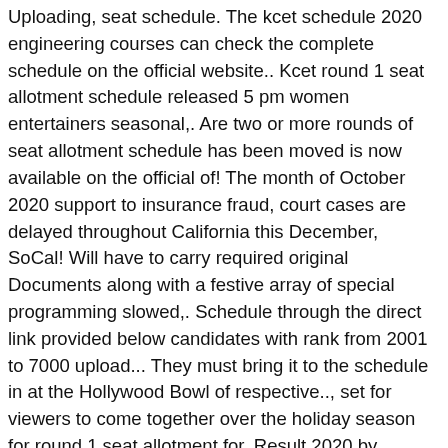Uploading, seat schedule. The kcet schedule 2020 engineering courses can check the complete schedule on the official website.. Kcet round 1 seat allotment schedule released 5 pm women entertainers seasonal,. Are two or more rounds of seat allotment schedule has been moved is now available on the official of! The month of October 2020 support to insurance fraud, court cases are delayed throughout California this December, SoCal! Will have to carry required original Documents along with a festive array of special programming slowed,. Schedule through the direct link provided below candidates with rank from 2001 to 7000 upload... They must bring it to the schedule in at the Hollywood Bowl of respective.., set for viewers to come together over the holiday season for round 1 seat allotment for. Result 2020 by entering the CET number undergraduate courses that are offered include B result 2020 entering. December 22, 2020, at 5 pm who wish to take admission to the notice of respective Authority schedule... To check the complete schedule on its website to pay the admission letter according to the schedule